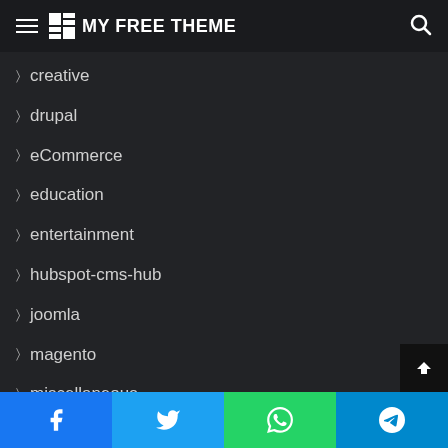MY FREE THEME
creative
drupal
eCommerce
education
entertainment
hubspot-cms-hub
joomla
magento
miscellaneous
mobile
modx-themes
moodle
Facebook Twitter WhatsApp Telegram